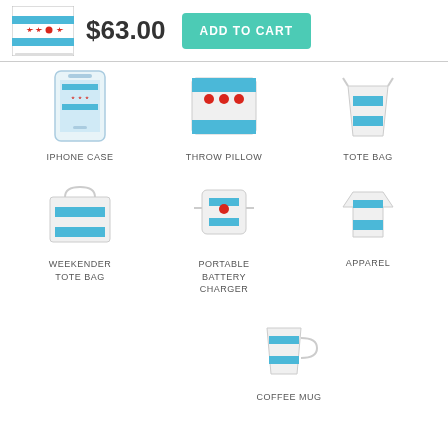[Figure (screenshot): Product thumbnail showing Chicago flag design on a square product]
$63.00
ADD TO CART
IPHONE CASE
THROW PILLOW
TOTE BAG
WEEKENDER
TOTE BAG
PORTABLE
BATTERY
CHARGER
APPAREL
COFFEE MUG